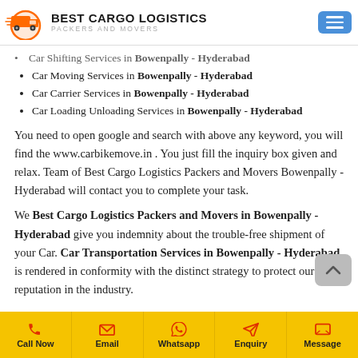BEST CARGO LOGISTICS PACKERS AND MOVERS
Car Shifting Services in Bowenpally - Hyderabad (partial, cropped at top)
Car Moving Services in Bowenpally - Hyderabad
Car Carrier Services in Bowenpally - Hyderabad
Car Loading Unloading Services in Bowenpally - Hyderabad
You need to open google and search with above any keyword, you will find the www.carbikemove.in . You just fill the inquiry box given and relax. Team of Best Cargo Logistics Packers and Movers Bowenpally - Hyderabad will contact you to complete your task.
We Best Cargo Logistics Packers and Movers in Bowenpally - Hyderabad give you indemnity about the trouble-free shipment of your Car. Car Transportation Services in Bowenpally - Hyderabad is rendered in conformity with the distinct strategy to protect our reputation in the industry.
Call Now | Email | Whatsapp | Enquiry | Message